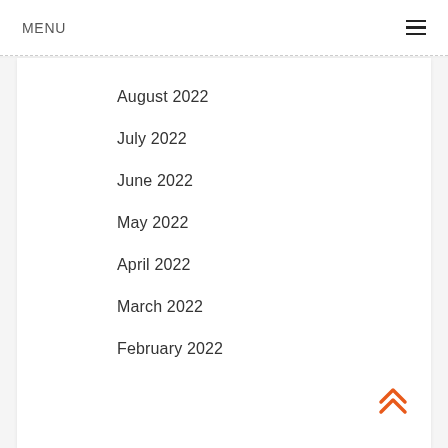MENU
August 2022
July 2022
June 2022
May 2022
April 2022
March 2022
February 2022